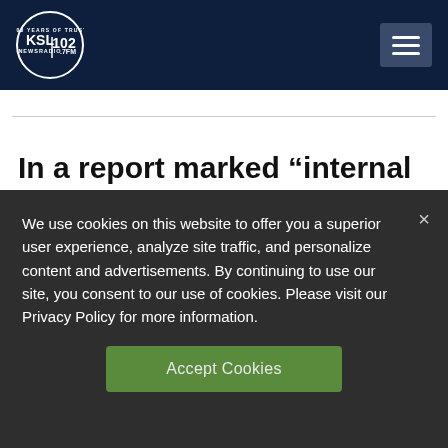[Figure (logo): KSL NewsRadio 102.7FM logo — circle with KSL text and '100 YEARS OF TRUST' tagline, white on dark navy background]
In a report marked “internal document, please keep confidential,” local health authorities in the province of Hubei, where
We use cookies on this website to offer you a superior user experience, analyze site traffic, and personalize content and advertisements. By continuing to use our site, you consent to our use of cookies. Please visit our Privacy Policy for more information.
Accept Cookies